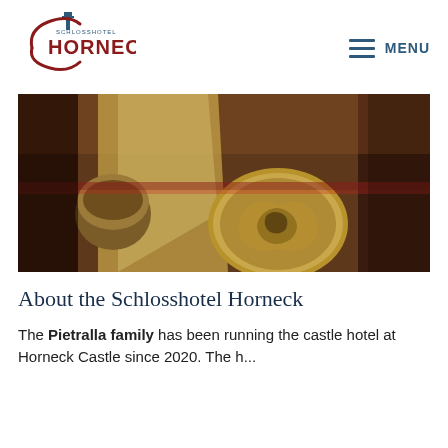[Figure (logo): Schlosshotel Horneck logo with tower icon and red/blue text]
MENU
[Figure (photo): Close-up photo of an ornate golden medallion on a piano lid, with dark mahogany wood background and red fabric visible]
About the Schlosshotel Horneck
The Pietralla family has been running the castle hotel at Horneck Castle since 2020. The h...